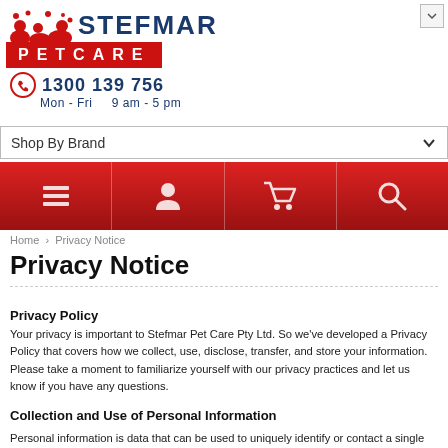[Figure (logo): Stefmar Pet Care logo with animal silhouettes, red PETCARE bar, phone number 1300 139 756, Mon-Fri 9am-5pm]
[Figure (screenshot): Shop By Brand dropdown selector]
[Figure (screenshot): Red navigation bar with menu, user, cart, and search icons]
Home > Privacy Notice
Privacy Notice
Privacy Policy
Your privacy is important to Stefmar Pet Care Pty Ltd. So we've developed a Privacy Policy that covers how we collect, use, disclose, transfer, and store your information. Please take a moment to familiarize yourself with our privacy practices and let us know if you have any questions.
Collection and Use of Personal Information
Personal information is data that can be used to uniquely identify or contact a single